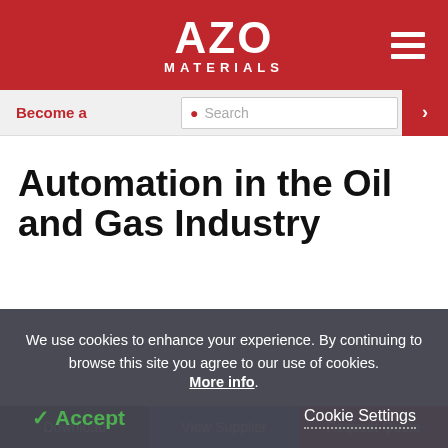AZO MATERIALS
Become a
Search
Automation in the Oil and Gas Industry
Download | View Supplier | Request Quote
We use cookies to enhance your experience. By continuing to browse this site you agree to our use of cookies. More info.
✓ Accept   Cookie Settings